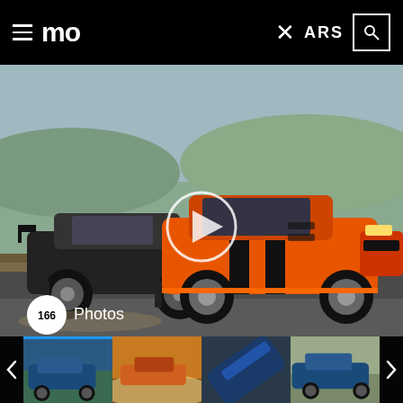mo   ARS
[Figure (photo): Main video thumbnail showing orange Ford Shelby GT500 and black Hoonicorn Mustang racing on a track. Play button overlay in center. '166 Photos' badge at bottom left.]
[Figure (photo): Thumbnail strip showing 4 car photos: blue GT500, GT500 doing burnout, aerial view of blue GT500, blue GT500 side view.]
With the tank topped off, a third run with the same parameters takes place and the GT500 still wins. This time the margin of victory was barely a car length, and the Hoonicorn was charging hard. But there's no denying the serious top-end performance baked into Ford's showroom stock pony. Considering the massive